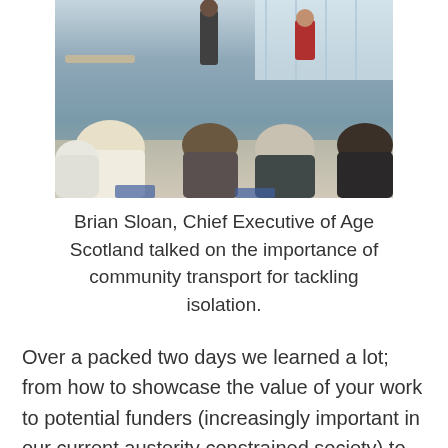[Figure (photo): A meeting or conference scene showing people seated in a room listening to a presenter. A person in a red top stands at the front/back of the room. Several attendees are visible from behind, including people with blonde and grey hair. The setting appears to be a workshop or community event.]
Brian Sloan, Chief Executive of Age Scotland talked on the importance of community transport for tackling isolation.
Over a packed two days we learned a lot; from how to showcase the value of your work to potential funders (increasingly important in our current austerity constrained society) to the